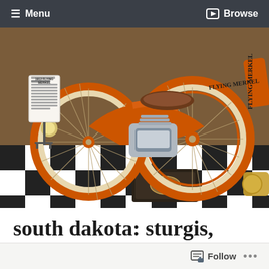≡ Menu   Browse
[Figure (photo): Orange vintage Flying Merkel motorcycle on display in a museum, with black and white checkered floor, info sign on stand to the left, chrome engine visible]
south dakota: sturgis, bear butte & wall
wanderessence1025   October 27, 2020
Follow   ...